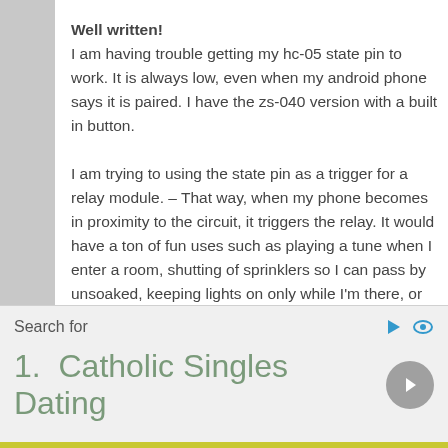Well written!
I am having trouble getting my hc-05 state pin to work. It is always low, even when my android phone says it is paired. I have the zs-040 version with a built in button.

I am trying to using the state pin as a trigger for a relay module. – That way, when my phone becomes in proximity to the circuit, it triggers the relay. It would have a ton of fun uses such as playing a tune when I enter a room, shutting of sprinklers so I can pass by unsoaked, keeping lights on only while I'm there, or unlocking and opening my garage door automatically as I approach.

I read elsewhere that others have had the
Search for
1.  Catholic Singles Dating